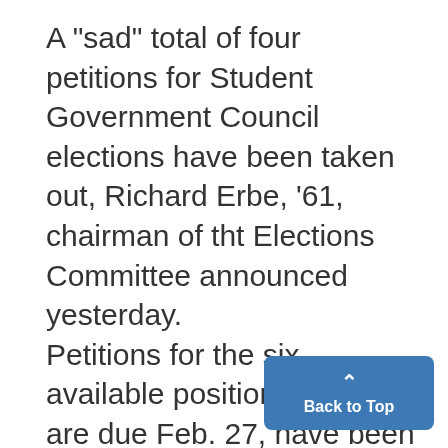A "sad" total of four petitions for Student Government Council elections have been taken out, Richard Erbe, '61, chairman of tht Elections Committee announced yesterday. Petitions for the six available positions, which are due Feb. 27, have been taken by Phillip Zook, '60, Robert Garb, '62, Howard Stein, '61, and Michael Fishman, '60. Lawrence Snider, '61, is running for a position on the Board in